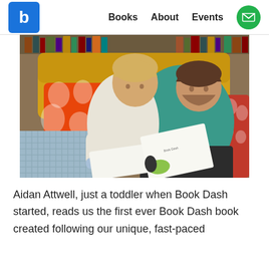b | Books  About  Events
[Figure (photo): A young boy and a man sitting together reading a Book Dash picture book. The boy has blonde hair and wears a white shirt; the man wears a teal shirt. There are colorful cushions and bookshelves in the background.]
Aidan Attwell, just a toddler when Book Dash started, reads us the first ever Book Dash book created following our unique, fast-paced